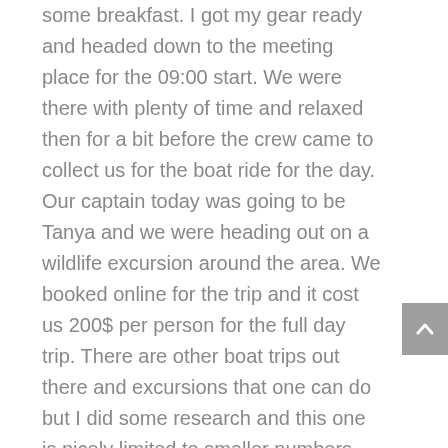some breakfast. I got my gear ready and headed down to the meeting place for the 09:00 start. We were there with plenty of time and relaxed then for a bit before the crew came to collect us for the boat ride for the day. Our captain today was going to be Tanya and we were heading out on a wildlife excursion around the area. We booked online for the trip and it cost us 200$ per person for the full day trip. There are other boat trips out there and excursions that one can do but I did some research and this one is nicely limited to smaller numbers and focuses on the photography aspect a bit more – or so I was told online at least. Lunch was also included in the price for the day so that helped. Details on their website state the following :